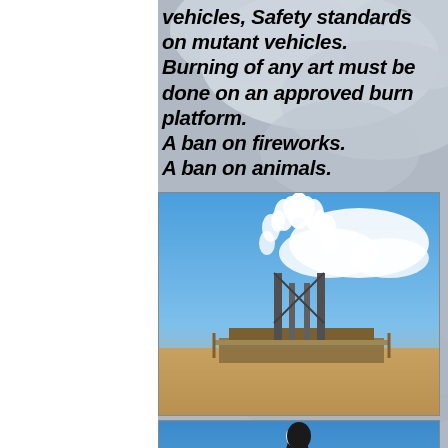vehicles, Safety standards on mutant vehicles.
Burning of any art must be done on an approved burn platform.
A ban on fireworks.
A ban on animals.
[Figure (photo): A large art installation resembling a white flower or hand reaching up toward a blue sky, mounted on a metal scaffold structure on a flat desert plain.]
[Figure (photo): A large goose or Canada goose sculpture/statue with wings spread wide, photographed against a blue sky.]